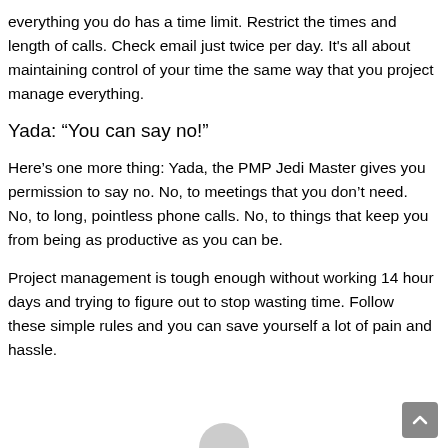everything you do has a time limit. Restrict the times and length of calls. Check email just twice per day. It’s all about maintaining control of your time the same way that you project manage everything.
Yada: “You can say no!”
Here’s one more thing: Yada, the PMP Jedi Master gives you permission to say no. No, to meetings that you don’t need. No, to long, pointless phone calls. No, to things that keep you from being as productive as you can be.
Project management is tough enough without working 14 hour days and trying to figure out to stop wasting time. Follow these simple rules and you can save yourself a lot of pain and hassle.